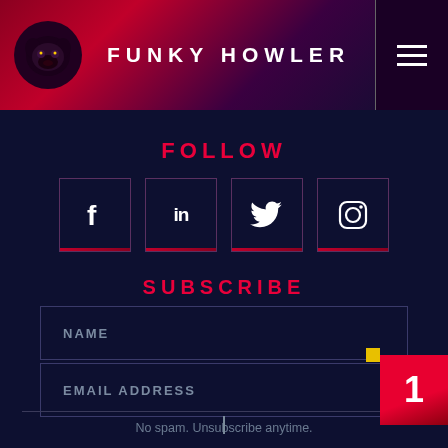FUNKY HOWLER
FOLLOW
[Figure (other): Four social media icon buttons: Facebook (f), LinkedIn (in), Twitter (bird), Instagram (camera)]
SUBSCRIBE
NAME
EMAIL ADDRESS
No spam. Unsubscribe anytime.